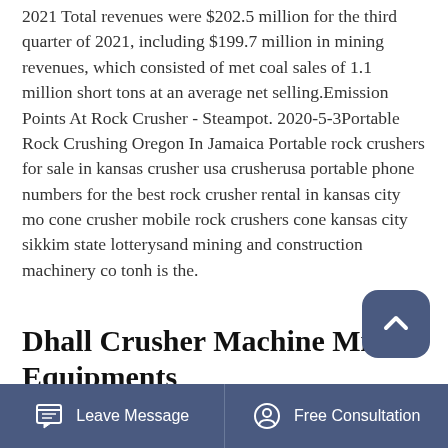2021 Total revenues were $202.5 million for the third quarter of 2021, including $199.7 million in mining revenues, which consisted of met coal sales of 1.1 million short tons at an average net selling.Emission Points At Rock Crusher - Steampot. 2020-5-3Portable Rock Crushing Oregon In Jamaica Portable rock crushers for sale in kansas crusher usa crusherusa portable phone numbers for the best rock crusher rental in kansas city mo cone crusher mobile rock crushers cone kansas city sikkim state lotterysand mining and construction machinery co tonh is the.
Dhall Crusher Machine Mine Equipments
Coal crusher parts india . Ecoman is one of the
[Figure (other): Scroll-to-top button: dark blue rounded rectangle with upward chevron arrow icon]
Leave Message   Free Consultation